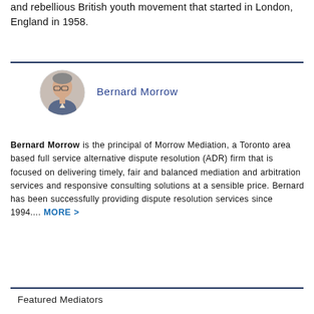and rebellious British youth movement that started in London, England in 1958.
[Figure (photo): Circular headshot photo of Bernard Morrow]
Bernard Morrow
Bernard Morrow is the principal of Morrow Mediation, a Toronto area based full service alternative dispute resolution (ADR) firm that is focused on delivering timely, fair and balanced mediation and arbitration services and responsive consulting solutions at a sensible price. Bernard has been successfully providing dispute resolution services since 1994.... MORE >
Featured Mediators